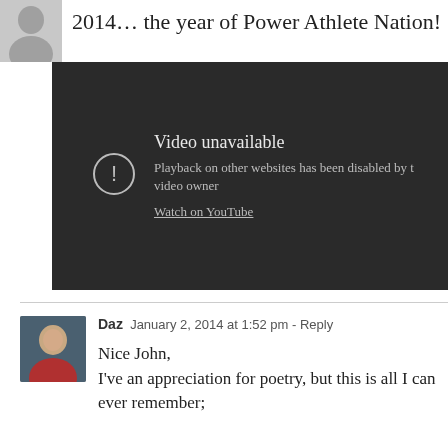2014… the year of Power Athlete Nation!
[Figure (screenshot): Embedded video player showing 'Video unavailable' error. Text reads: 'Video unavailable. Playback on other websites has been disabled by the video owner. Watch on YouTube']
Daz  January 2, 2014 at 1:52 pm - Reply
Nice John,
I've an appreciation for poetry, but this is all I can ever remember;